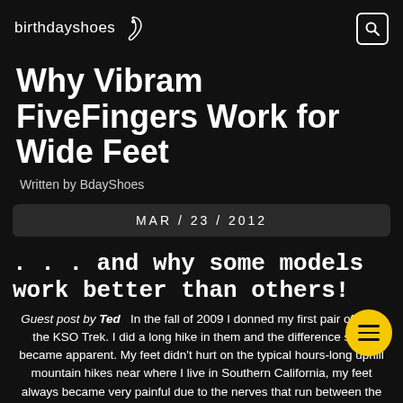birthdayshoes
Why Vibram FiveFingers Work for Wide Feet
Written by BdayShoes
MAR / 23 / 2012
. . . and why some models work better than others!
Guest post by Ted   In the fall of 2009 I donned my first pair of VFF, the KSO Trek. I did a long hike in them and the difference soon became apparent. My feet didn't hurt on the typical hours-long uphill mountain hikes near where I live in Southern California, my feet always became very painful due to the nerves that run between the toe knuckles being squeezed